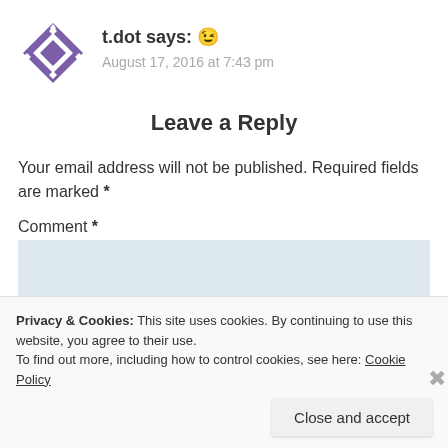[Figure (logo): Purple geometric diamond/cross avatar icon for user t.dot]
t.dot says: 😉
August 17, 2016 at 7:43 pm
Leave a Reply
Your email address will not be published. Required fields are marked *
Comment *
Privacy & Cookies: This site uses cookies. By continuing to use this website, you agree to their use.
To find out more, including how to control cookies, see here: Cookie Policy
Close and accept